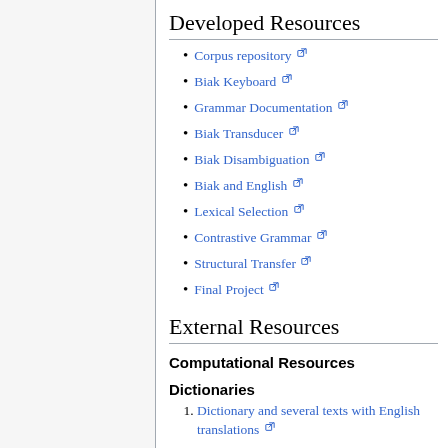Developed Resources
Corpus repository
Biak Keyboard
Grammar Documentation
Biak Transducer
Biak Disambiguation
Biak and English
Lexical Selection
Contrastive Grammar
Structural Transfer
Final Project
External Resources
Computational Resources
Dictionaries
Dictionary and several texts with English translations